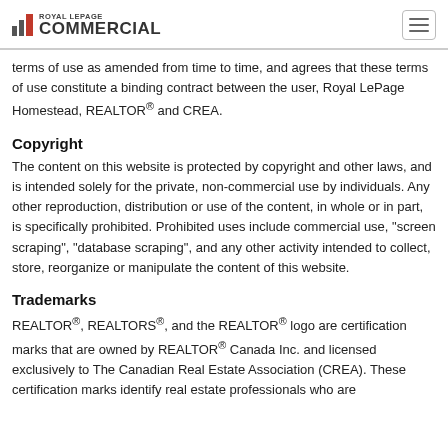Royal LePage Commercial
terms of use as amended from time to time, and agrees that these terms of use constitute a binding contract between the user, Royal LePage Homestead, REALTOR® and CREA.
Copyright
The content on this website is protected by copyright and other laws, and is intended solely for the private, non-commercial use by individuals. Any other reproduction, distribution or use of the content, in whole or in part, is specifically prohibited. Prohibited uses include commercial use, "screen scraping", "database scraping", and any other activity intended to collect, store, reorganize or manipulate the content of this website.
Trademarks
REALTOR®, REALTORS®, and the REALTOR® logo are certification marks that are owned by REALTOR® Canada Inc. and licensed exclusively to The Canadian Real Estate Association (CREA). These certification marks identify real estate professionals who are